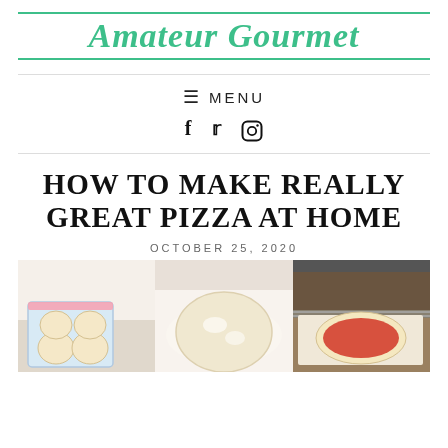Amateur Gourmet
☰ MENU
f 𝕏 ⊙
HOW TO MAKE REALLY GREAT PIZZA AT HOME
OCTOBER 25, 2020
[Figure (photo): Three-panel photo collage showing pizza-making steps: left panel shows dough balls in zip-lock bags, center panel shows a flattened round dough on a floured surface, right panel shows a pizza with tomato sauce on a baking stone in the oven.]